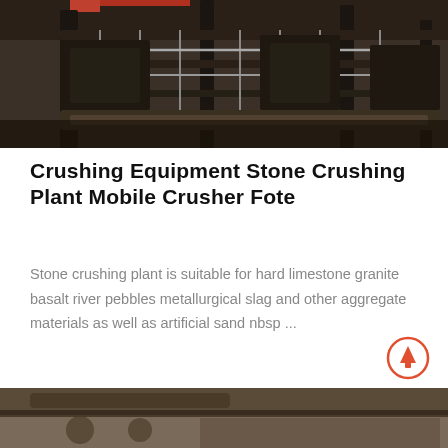[Figure (photo): Industrial stone crushing plant with conveyor belts, metallic structures, and machinery in a factory setting]
Crushing Equipment Stone Crushing Plant Mobile Crusher Fote
Stone crushing plant is suitable for hard limestone granite basalt river pebbles metallurgical slag and other aggregate materials as well as artificial sand nbsp ...
[Figure (other): Scroll to top button: circle with upward arrow in red/orange outline]
[Figure (photo): Partial view of another industrial crushing or processing machine, bottom of page]